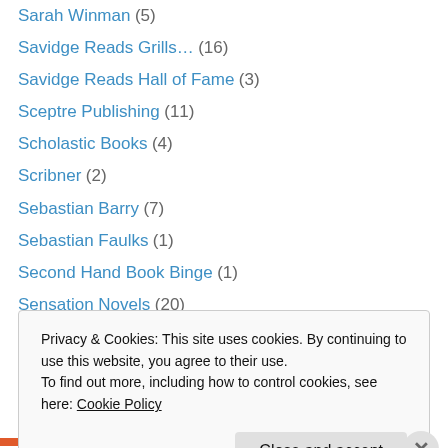Sarah Winman (5)
Savidge Reads Grills… (16)
Savidge Reads Hall of Fame (3)
Sceptre Publishing (11)
Scholastic Books (4)
Scribner (2)
Sebastian Barry (7)
Sebastian Faulks (1)
Second Hand Book Binge (1)
Sensation Novels (20)
Seren Books (1)
Serpent's Tail (12)
Seth Grahame-Smith (1)
Shane Jones (1)
Privacy & Cookies: This site uses cookies. By continuing to use this website, you agree to their use. To find out more, including how to control cookies, see here: Cookie Policy
Close and accept